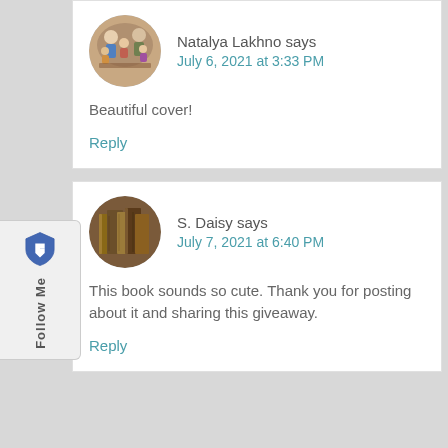[Figure (other): Sidebar with Brave browser shield logo and 'Follow Me' text rotated vertically]
Natalya Lakhno says
July 6, 2021 at 3:33 PM

Beautiful cover!

Reply
S. Daisy says
July 7, 2021 at 6:40 PM

This book sounds so cute. Thank you for posting about it and sharing this giveaway.

Reply